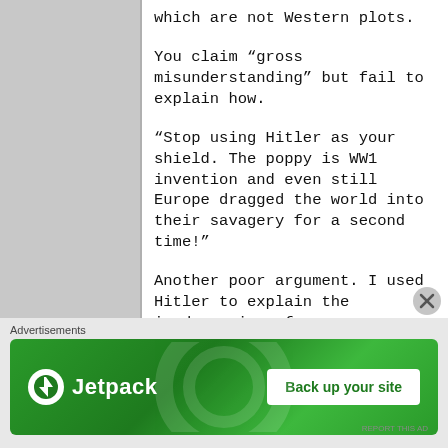which are not Western plots.
You claim “gross misunderstanding” but fail to explain how.
“Stop using Hitler as your shield. The poppy is WW1 invention and even still Europe dragged the world into their savagery for a second time!”
Another poor argument. I used Hitler to explain the inadequacies of your analysis, h...
Advertisements
[Figure (other): Jetpack advertisement banner with logo and 'Back up your site' button on green background]